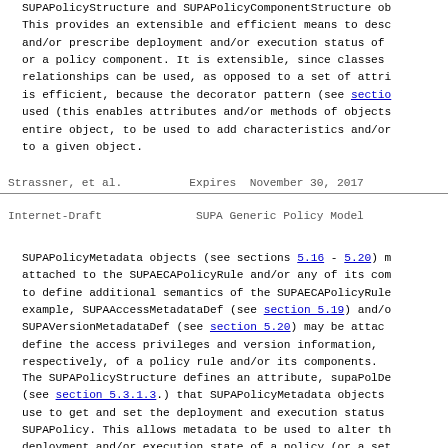SUPAPolicyStructure and SUPAPolicyComponentStructure ob. This provides an extensible and efficient means to desc and/or prescribe deployment and/or execution status of or a policy component. It is extensible, since classes relationships can be used, as opposed to a set of attri is efficient, because the decorator pattern (see sectio used (this enables attributes and/or methods of objects entire object, to be used to add characteristics and/or to a given object.
Strassner, et al.          Expires  November 30, 2017
Internet-Draft              SUPA Generic Policy Model
SUPAPolicyMetadata objects (see sections 5.16 - 5.20) m attached to the SUPAECAPolicyRule and/or any of its com to define additional semantics of the SUPAECAPolicyRule example, SUPAAccessMetadataDef (see section 5.19) and/o SUPAVersionMetadataDef (see section 5.20) may be attac define the access privileges and version information, respectively, of a policy rule and/or its components.
The SUPAPolicyStructure defines an attribute, supaPolDe (see section 5.3.1.3.) that SUPAPolicy Metadata objects use to get and set the deployment and execution status SUPAPolicy. This allows metadata to be used to alter th deployment and/or execution state of a policy (or a set policy components) without having to affect other parts